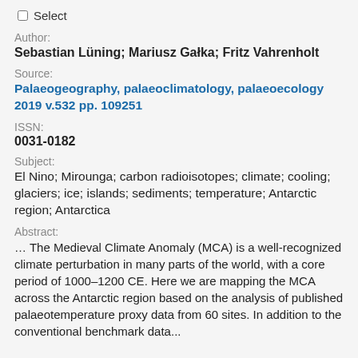☐ Select
Author:
Sebastian Lüning; Mariusz Gałka; Fritz Vahrenholt
Source:
Palaeogeography, palaeoclimatology, palaeoecology 2019 v.532 pp. 109251
ISSN:
0031-0182
Subject:
El Nino; Mirounga; carbon radioisotopes; climate; cooling; glaciers; ice; islands; sediments; temperature; Antarctic region; Antarctica
Abstract:
… The Medieval Climate Anomaly (MCA) is a well-recognized climate perturbation in many parts of the world, with a core period of 1000–1200 CE. Here we are mapping the MCA across the Antarctic region based on the analysis of published palaeotemperature proxy data from 60 sites. In addition to the conventional benchmark data...